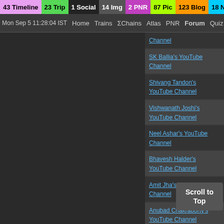43 Timeline  23 Trip  1 Social  14 Img  2 PNR  87 Pic  123 Blog  18 News
Mon Sep 5 11:28:04 IST  Home  Trains  ΣChains  Atlas  PNR  Forum  Quiz F
Channel
SK Ballia's YouTube Channel
Shivang Tandon's YouTube Channel
Vishwanath Joshi's YouTube Channel
Neel Ashar's YouTube Channel
Bhavesh Halder's YouTube Channel
Amit Jha's YouTube Channel
Anubad Chakraborty's YouTube Channel
Dharmendra Nirmalkar's YouTube Channel
Ram Prasanth Pilla's YouTube Channel
Suvodeep Bhattacharya's YouTube Channel
Prabhat Sh... YouTube Ch...
Kushagra S... YouTube Ch...
Scroll to Top